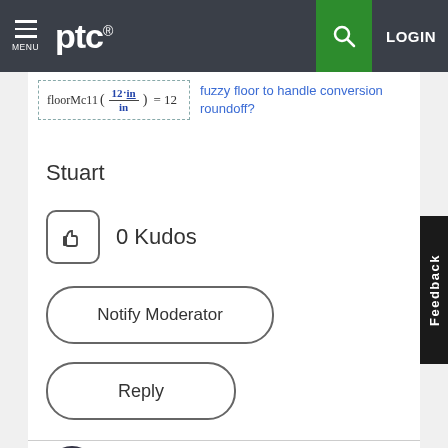PTC — MENU | LOGIN
[Figure (screenshot): Formula: floorMe11(12·in / in) = 12 with dashed border, next to blue text 'fuzzy floor to handle conversion roundoff?']
Stuart
0 Kudos
Notify Moderator
Reply
[Figure (photo): User avatar circle with dark artistic image (The Scream-like figure)]